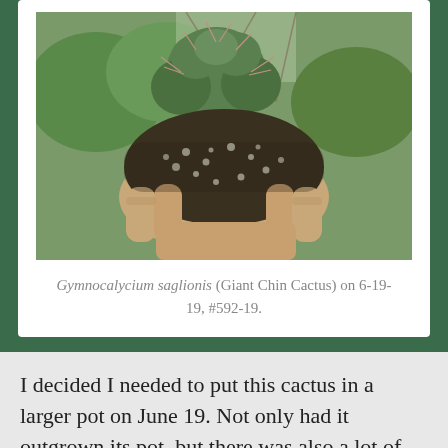[Figure (photo): A hand holding a cactus (Gymnocalycium saglionis / Giant Chin Cactus) with a large root ball of dark soil with white perlite visible, green cactus body with spines visible above, garden foliage in background.]
Gymnocalycium saglionis (Giant Chin Cactus) on 6-19-19, #592-19.
I decided I needed to put this cactus in a larger pot on June 19. Not only had it outgrown its pot, but there was also a lot of excess potting soil around it.